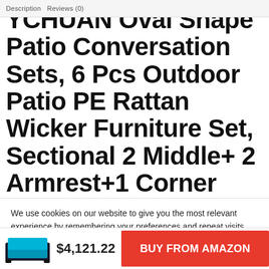Description  Reviews (0)
YCHUAN Oval Shape Patio Conversation Sets, 6 Pcs Outdoor Patio PE Rattan Wicker Furniture Set, Sectional 2 Middle+ 2 Armrest+1 Corner Sofa+1 Tea Table⊠Patio Furniture
We use cookies on our website to give you the most relevant experience by remembering your preferences and repeat visits. By clicking "Accept All", you consent to the use of ALL the cookies. However, you may visit "Cookie Settings" to provide a controlled consent.
Cookie Settings  Accept All
$4,121.22  BUY FROM AMAZON